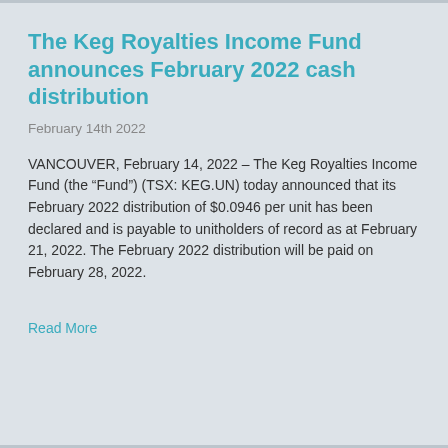The Keg Royalties Income Fund announces February 2022 cash distribution
February 14th 2022
VANCOUVER, February 14, 2022 – The Keg Royalties Income Fund (the “Fund”) (TSX: KEG.UN) today announced that its February 2022 distribution of $0.0946 per unit has been declared and is payable to unitholders of record as at February 21, 2022. The February 2022 distribution will be paid on February 28, 2022.
Read More